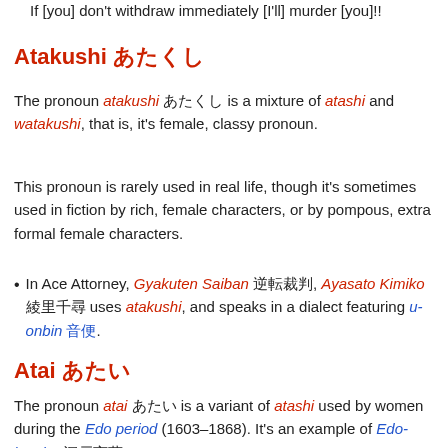If [you] don't withdraw immediately [I'll] murder [you]!!
Atakushi あたくし
The pronoun atakushi あたくし is a mixture of atashi and watakushi, that is, it's female, classy pronoun.
This pronoun is rarely used in real life, though it's sometimes used in fiction by rich, female characters, or by pompous, extra formal female characters.
In Ace Attorney, Gyakuten Saiban 逆転裁判, Ayasato Kimiko 綾里 千尋 uses atakushi, and speaks in a dialect featuring u-onbin 音便.
Atai あたい
The pronoun atai あたい is a variant of atashi used by women during the Edo period (1603–1868). It's an example of Edo-kotoba 江戸言葉.